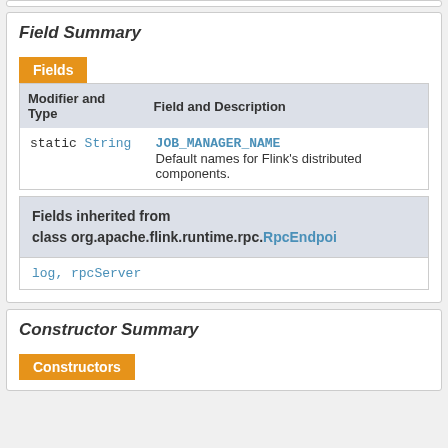Field Summary
| Modifier and Type | Field and Description |
| --- | --- |
| static String | JOB_MANAGER_NAME
Default names for Flink's distributed components. |
Fields inherited from class org.apache.flink.runtime.rpc.RpcEndpoi...
log, rpcServer
Constructor Summary